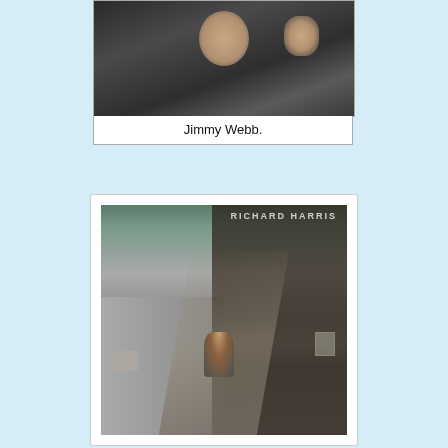[Figure (photo): Black and white portrait photo of Jimmy Webb, a man in a dark pinstripe suit, hand raised near his face]
Jimmy Webb.
[Figure (photo): Album cover for Richard Harris showing a man seated on a cabin porch, with a dirt road and rural landscape, black and white with slight color tones. 'RICHARD HARRIS' text appears at the top right of the image.]